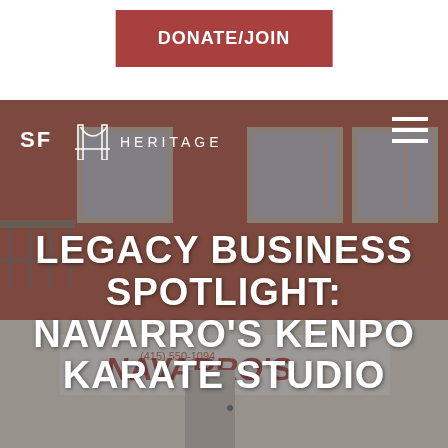DONATE/JOIN
[Figure (logo): SF Heritage logo — stylized Golden Gate Bridge arch with 'SF HERITAGE' text in white outline letters]
[Figure (photo): Photograph of a terracotta-orange building facade with white-trimmed windows, fire escape on the left, and Navarro's Kenpo Karate Studio storefront signage visible at street level showing 960, with a dark overlay]
LEGACY BUSINESS SPOTLIGHT: NAVARRO'S KENPO KARATE STUDIO